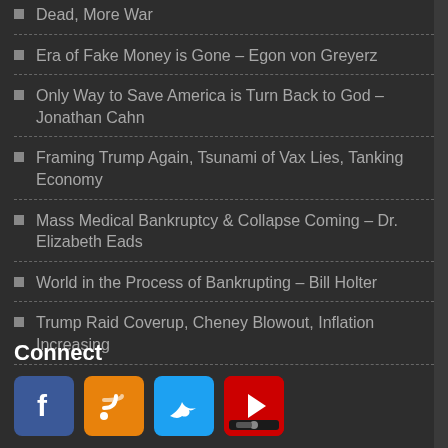Dead, More War
Era of Fake Money is Gone – Egon von Greyerz
Only Way to Save America is Turn Back to God – Jonathan Cahn
Framing Trump Again, Tsunami of Vax Lies, Tanking Economy
Mass Medical Bankruptcy & Collapse Coming – Dr. Elizabeth Eads
World in the Process of Bankrupting – Bill Holter
Trump Raid Coverup, Cheney Blowout, Inflation Increasing
Connect
[Figure (other): Social media icons: Facebook, RSS, Twitter, YouTube]